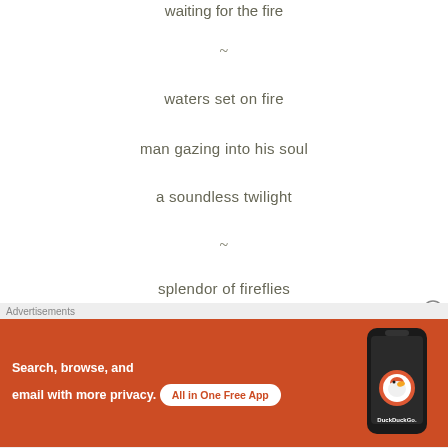waiting for the fire
~
waters set on fire
man gazing into his soul
a soundless twilight
~
splendor of fireflies
[Figure (other): DuckDuckGo advertisement banner: 'Search, browse, and email with more privacy. All in One Free App' with DuckDuckGo logo and phone image on orange background]